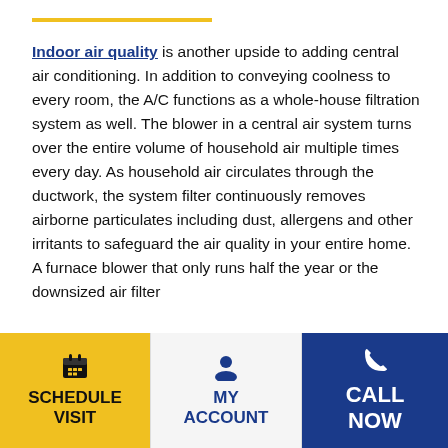Indoor air quality is another upside to adding central air conditioning. In addition to conveying coolness to every room, the A/C functions as a whole-house filtration system as well. The blower in a central air system turns over the entire volume of household air multiple times every day. As household air circulates through the ductwork, the system filter continuously removes airborne particulates including dust, allergens and other irritants to safeguard the air quality in your entire home. A furnace blower that only runs half the year or the downsized air filter
[Figure (infographic): Footer navigation bar with three sections: yellow 'Schedule Visit' button with calendar icon, light gray 'My Account' button with person icon in blue, and dark blue 'Call Now' button with phone icon in white.]